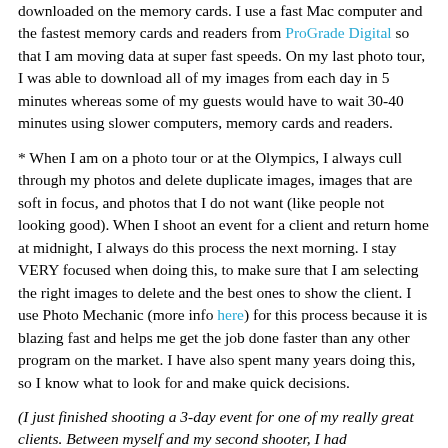downloaded on the memory cards. I use a fast Mac computer and the fastest memory cards and readers from ProGrade Digital so that I am moving data at super fast speeds. On my last photo tour, I was able to download all of my images from each day in 5 minutes whereas some of my guests would have to wait 30-40 minutes using slower computers, memory cards and readers.
* When I am on a photo tour or at the Olympics, I always cull through my photos and delete duplicate images, images that are soft in focus, and photos that I do not want (like people not looking good). When I shoot an event for a client and return home at midnight, I always do this process the next morning. I stay VERY focused when doing this, to make sure that I am selecting the right images to delete and the best ones to show the client. I use Photo Mechanic (more info here) for this process because it is blazing fast and helps me get the job done faster than any other program on the market. I have also spent many years doing this, so I know what to look for and make quick decisions.
(I just finished shooting a 3-day event for one of my really great clients. Between myself and my second shooter, I had